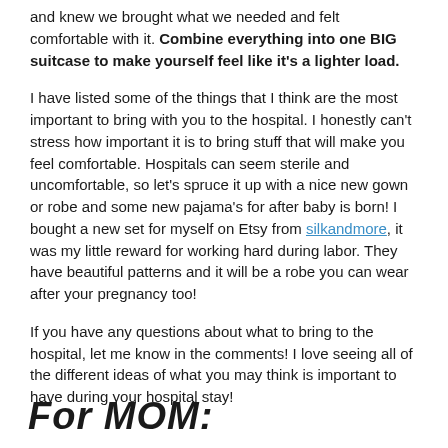and knew we brought what we needed and felt comfortable with it. Combine everything into one BIG suitcase to make yourself feel like it's a lighter load.
I have listed some of the things that I think are the most important to bring with you to the hospital. I honestly can't stress how important it is to bring stuff that will make you feel comfortable. Hospitals can seem sterile and uncomfortable, so let's spruce it up with a nice new gown or robe and some new pajama's for after baby is born! I bought a new set for myself on Etsy from silkandmore, it was my little reward for working hard during labor. They have beautiful patterns and it will be a robe you can wear after your pregnancy too!
If you have any questions about what to bring to the hospital, let me know in the comments! I love seeing all of the different ideas of what you may think is important to have during your hospital stay!
For MOM: